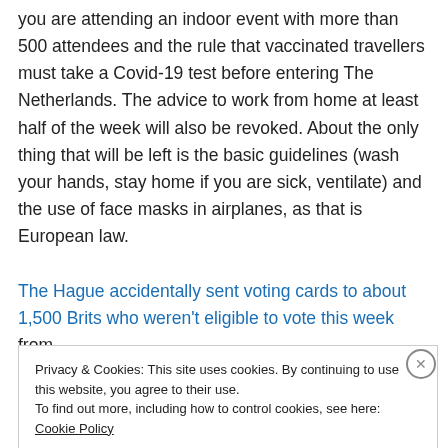you are attending an indoor event with more than 500 attendees and the rule that vaccinated travellers must take a Covid-19 test before entering The Netherlands. The advice to work from home at least half of the week will also be revoked. About the only thing that will be left is the basic guidelines (wash your hands, stay home if you are sick, ventilate) and the use of face masks in airplanes, as that is European law.
The Hague accidentally sent voting cards to about 1,500 Brits who weren't eligible to vote this week from
Privacy & Cookies: This site uses cookies. By continuing to use this website, you agree to their use.
To find out more, including how to control cookies, see here: Cookie Policy